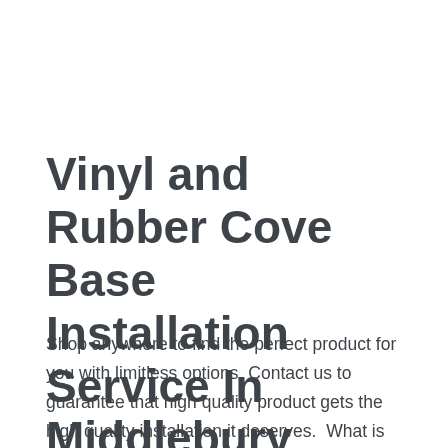Vinyl and Rubber Cove Base Installation Service In Middlebury Connecticut
Vinyl, Wall base / By CarpetInCT
Shop anywhere to find the perfect product for you with limitless options. Contact us to guarantee that high quality product gets the high quality installation it deserves.  What is vinyl cove base ? Wall base, also known as cove base, is typically made of rubber or vinyl and covers the bottom few inches of a wall. Often used in both homes and offices it